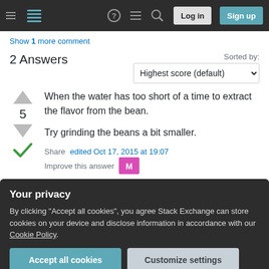Stack Exchange navigation bar with Log in and Sign up buttons
Show 1 more comment
2 Answers
Sorted by: Highest score (default)
When the water has too short of a time to extract the flavor from the bean.

Try grinding the beans a bit smaller.
Share   edited Oct 17, 2015 at 19:07
Improve this answer
Your privacy

By clicking "Accept all cookies", you agree Stack Exchange can store cookies on your device and disclose information in accordance with our Cookie Policy.

Accept all cookies    Customize settings
I was going to wait till morning to try a finer grind on my coffee but curiosity got the better of me and I tried it